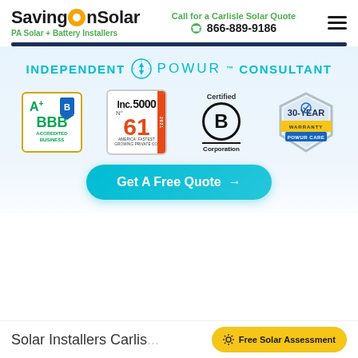SavingOnSolar — PA Solar + Battery Installers | Call for a Carlisle Solar Quote 866-889-9186
[Figure (logo): INDEPENDENT POWUR CONSULTANT banner with Powur lightning bolt icon]
[Figure (logo): BBB A+ Accredited Business badge]
[Figure (logo): Inc. 5000 No. 61 America's Fastest Growing Private Company 2021]
[Figure (logo): Certified B Corporation badge]
[Figure (logo): 30-Year Warranty Powur Care badge]
Get A Free Quote →
Solar Installers Carlis...
Free Solar Assessment